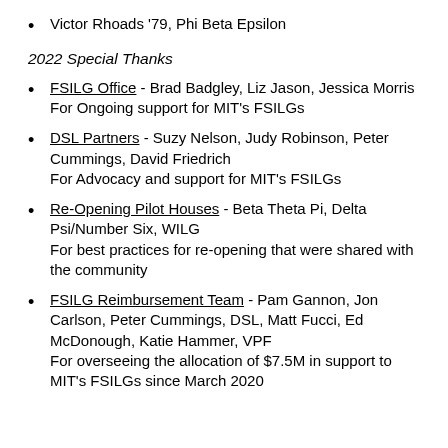Victor Rhoads '79, Phi Beta Epsilon
2022 Special Thanks
FSILG Office - Brad Badgley, Liz Jason, Jessica Morris For Ongoing support for MIT's FSILGs
DSL Partners - Suzy Nelson, Judy Robinson, Peter Cummings, David Friedrich For Advocacy and support for MIT's FSILGs
Re-Opening Pilot Houses - Beta Theta Pi, Delta Psi/Number Six, WILG For best practices for re-opening that were shared with the community
FSILG Reimbursement Team - Pam Gannon, Jon Carlson, Peter Cummings, DSL, Matt Fucci, Ed McDonough, Katie Hammer, VPF For overseeing the allocation of $7.5M in support to MIT's FSILGs since March 2020